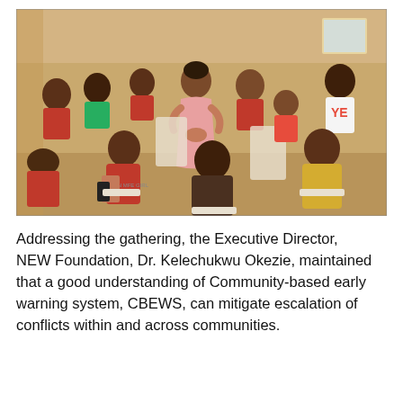[Figure (photo): A community gathering inside a hall. A woman in a pink dress stands at the center addressing a group of seated people. Several men and women are seated on white plastic chairs, some looking at documents. More people stand in the background. The setting appears to be an indoor community meeting room with beige walls.]
Addressing the gathering, the Executive Director, NEW Foundation, Dr. Kelechukwu Okezie, maintained that a good understanding of Community-based early warning system, CBEWS, can mitigate escalation of conflicts within and across communities.